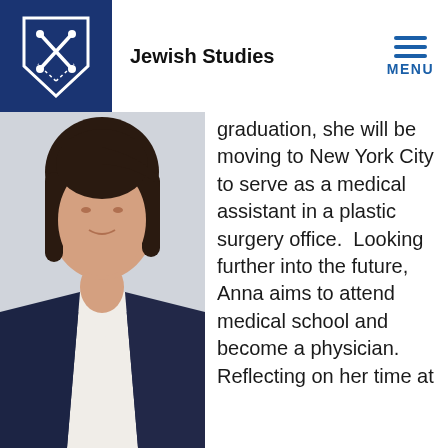Jewish Studies
[Figure (photo): Portrait photo of a young woman wearing a white blouse and navy blazer, photographed from the shoulders up, with dark hair.]
graduation, she will be moving to New York City to serve as a medical assistant in a plastic surgery office.  Looking further into the future, Anna aims to attend medical school and become a physician. Reflecting on her time at